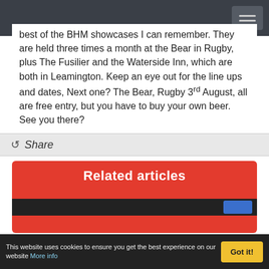best of the BHM showcases I can remember. They are held three times a month at the Bear in Rugby, plus The Fusilier and the Waterside Inn, which are both in Leamington. Keep an eye out for the line ups and dates, Next one? The Bear, Rugby 3rd August, all are free entry, but you have to buy your own beer. See you there?
Tony Collins
Share
Related articles
This website uses cookies to ensure you get the best experience on our website More info